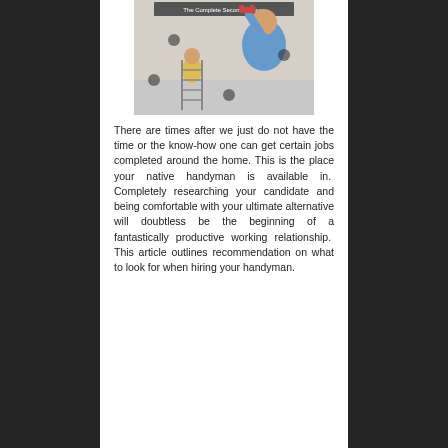[Figure (photo): DVD cover image showing a man in a blue shirt holding up a tool, with a woman on a ladder in the background. Text at top reads 'The Complete Second Season'.]
There are times after we just do not have the time or the know-how one can get certain jobs completed around the home. This is the place your native handyman is available in. Completely researching your candidate and being comfortable with your ultimate alternative will doubtless be the beginning of a fantastically productive working relationship. This article outlines recommendation on what to look for when hiring your handyman.